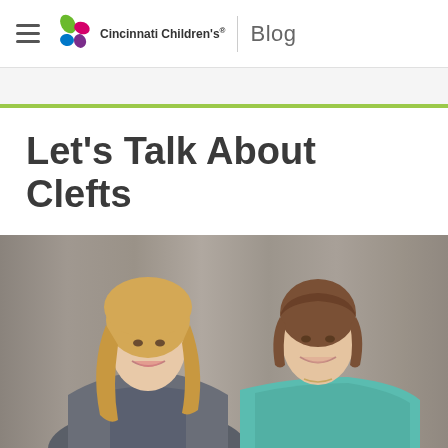Cincinnati Children's Blog
Let's Talk About Clefts
[Figure (photo): Two young women smiling and posing together in front of a gray curtain backdrop. The woman on the left has long blonde wavy hair and is wearing a denim jacket over a patterned top. The woman on the right has darker hair pulled back and is wearing a teal sleeveless top.]